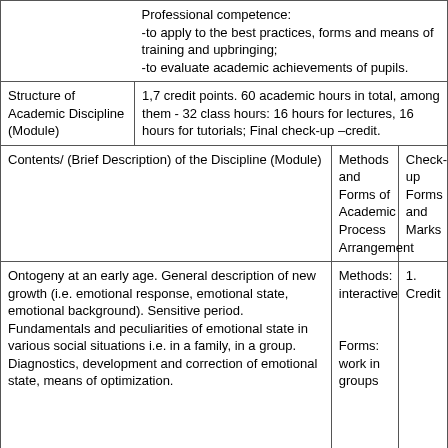|  | Professional competence:
-to apply to the best practices, forms and means of training and upbringing;
-to evaluate academic achievements of pupils. |  |  |
| Structure of Academic Discipline (Module) | 1,7 credit points. 60 academic hours in total, among them - 32 class hours: 16 hours for lectures, 16 hours for tutorials; Final check-up –credit. |  |  |
| Contents/ (Brief Description) of the Discipline (Module) |  | Methods and Forms of Academic Process Arrangement | Check-up Forms and Marks |
| Ontogeny at an early age. General description of new growth (i.e. emotional response, emotional state, emotional background). Sensitive period. Fundamentals and peculiarities of emotional state in various social situations i.e. in a family, in a group. Diagnostics, development and correction of emotional state, means of optimization. |  | Methods: interactive

Forms: work in groups | 1. Credit |